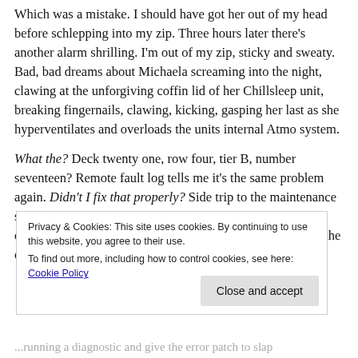Which was a mistake. I should have got her out of my head before schlepping into my zip. Three hours later there's another alarm shrilling. I'm out of my zip, sticky and sweaty. Bad, bad dreams about Michaela screaming into the night, clawing at the unforgiving coffin lid of her Chillsleep unit, breaking fingernails, clawing, kicking, gasping her last as she hyperventilates and overloads the units internal Atmo system.
What the? Deck twenty one, row four, tier B, number seventeen? Remote fault log tells me it's the same problem again. Didn't I fix that properly? Side trip to the maintenance store to get the spares and set the replication of a new spare control unit assembly before another trip down below into the cool white nothingness of the Chillsleep corridors. Replace
Privacy & Cookies: This site uses cookies. By continuing to use this website, you agree to their use.
To find out more, including how to control cookies, see here: Cookie Policy
Close and accept
...running a diagnostic and give the error patch to slap